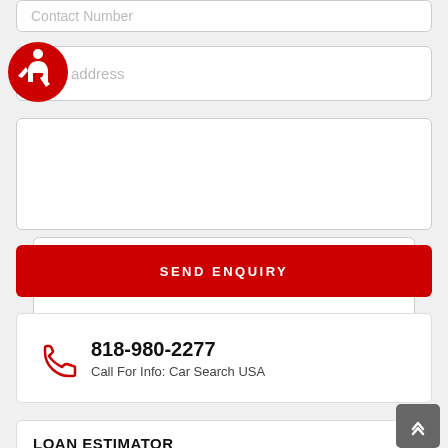[Figure (screenshot): Contact Number input field (partially visible at top)]
[Figure (logo): Accessibility wheelchair icon in red circle]
email address
Your Comments
SEND ENQUIRY
818-980-2277
Call For Info: Car Search USA
LOAN ESTIMATOR
Vehicle price
15585